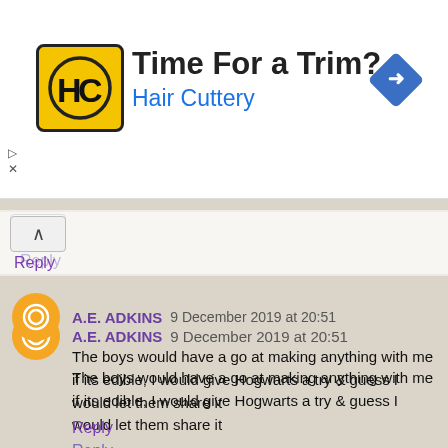[Figure (infographic): Advertisement banner for Hair Cuttery with yellow logo, text 'Time For a Trim?' and 'Hair Cuttery', and a blue navigation diamond icon. Small arrow/close controls at lower left.]
Reply
A.E. ADKINS 9 December 2019 at 20:51
The boys would have a go at making anything with me if its edible, I would give Hogwarts a try & guess I would let them share it
Reply
Nigsdylan 10 December 2019 at 00:24
The traditional cottage in the forest I should think
Reply